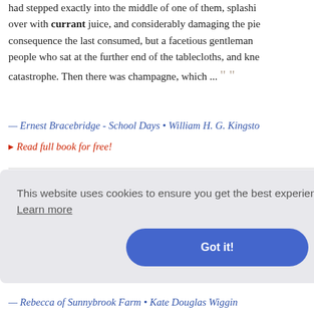had stepped exactly into the middle of one of them, splashing over with currant juice, and considerably damaging the pie consequence the last consumed, but a facetious gentleman people who sat at the further end of the tablecloths, and kne catastrophe. Then there was champagne, which ...
— Ernest Bracebridge - School Days • William H. G. Kingston
▸ Read full book for free!
""... run through the very heart of old Gascony and Langue that we were in the South, where the sun is strong, for, altho scarcely begun, the country already wore a brown hue. But growing grain, the acres of grape vines, looking like young o the fig trees scattered here and there, looked odd to the eye
— Eighty Years And More: Reminiscences 1815-1897 • Eliz
This website uses cookies to ensure you get the best experience on our website. Learn more
Got it!
l another it TY-NINE m nder the cu
— Rebecca of Sunnybrook Farm • Kate Douglas Wiggin